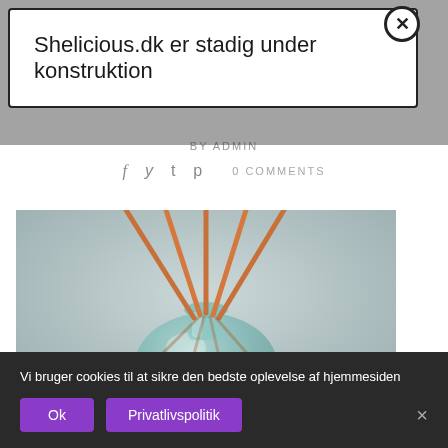Shelicious.dk er stadig under konstruktion
BY ADMIN
f  y  t  p    0 COMMENTS
[Figure (photo): Close-up photo of a reed diffuser with orange/brown sticks in a clear glass bottle with teal/blue tint, on a light grey background]
Vi bruger cookies til at sikre den bedste oplevelse af hjemmesiden
Ok   Privatlivspolitik